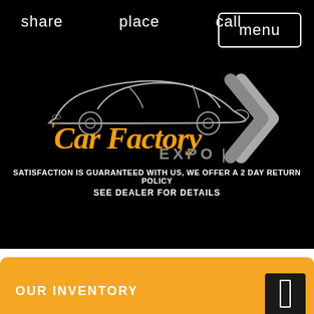share   place   call
menu
[Figure (logo): Car Factory Expo logo with silver sports car outline and orange cursive 'Car Factory' text with gray 'EXPO' text, plus silver chevron/arrow on the right]
SATISFACTION IS GUARANTEED WITH US, WE OFFER A 2 DAY RETURN POLICY
SEE DEALER FOR DETAILS
OUR INVENTORY